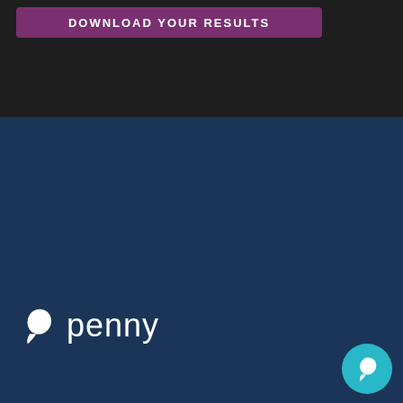DOWNLOAD YOUR RESULTS
[Figure (logo): Penny AI Technologies logo with bird icon and word 'penny' in white on dark blue background]
© Penny AI Technologies Inc. -  |  Privacy  |  Terms  |  Security